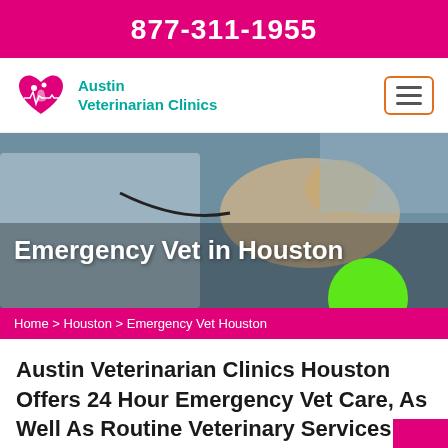877-311-1955
[Figure (logo): Austin Veterinarian Clinics logo with heart/paw icon]
[Figure (photo): Veterinarian in white coat examining a golden retriever dog with a stethoscope]
Emergency Vet in Houston
Home > Houston > Emergency Vet Houston
Austin Veterinarian Clinics Houston Offers 24 Hour Emergency Vet Care, As Well As Routine Veterinary Services For Your Pets. Our Well-